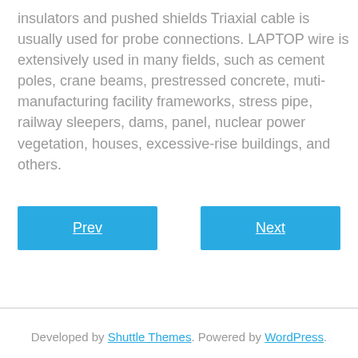insulators and pushed shields Triaxial cable is usually used for probe connections. LAPTOP wire is extensively used in many fields, such as cement poles, crane beams, prestressed concrete, muti-manufacturing facility frameworks, stress pipe, railway sleepers, dams, panel, nuclear power vegetation, houses, excessive-rise buildings, and others.
Prev
Next
Developed by Shuttle Themes. Powered by WordPress.